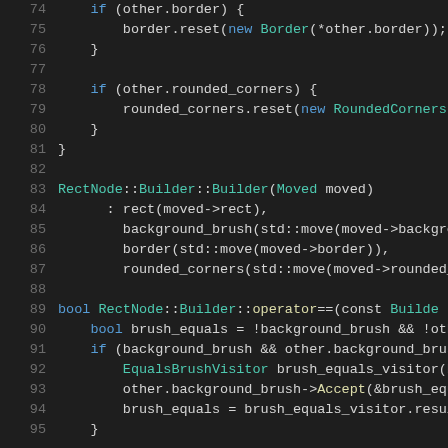Source code listing lines 74-95, C++ RectNode::Builder implementation